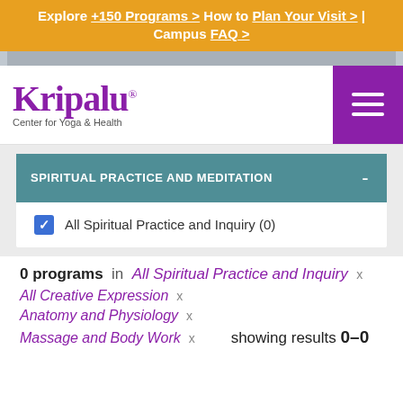Explore +150 Programs > How to Plan Your Visit > | Campus FAQ >
[Figure (logo): Kripalu Center for Yoga & Health logo with purple wordmark]
SPIRITUAL PRACTICE AND MEDITATION
All Spiritual Practice and Inquiry (0)
0 programs in All Spiritual Practice and Inquiry x
All Creative Expression x
Anatomy and Physiology x
Massage and Body Work x   showing results 0–0